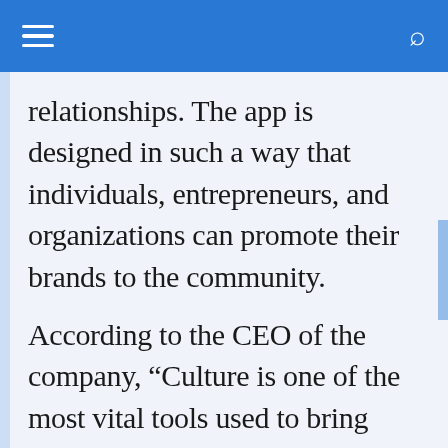≡  🔍
relationships. The app is designed in such a way that individuals, entrepreneurs, and organizations can promote their brands to the community.
According to the CEO of the company, “Culture is one of the most vital tools used to bring humans together.” MelaninPeople recognizes the need to connect and welcomes people from all professional backgrounds.